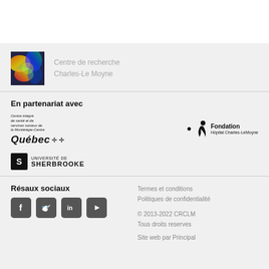[Figure (logo): Centre de recherche Charles-Le Moyne colorful logo image]
Centre de recherche
Charles-Le Moyne
En partenariat avec
[Figure (logo): Centre intégré de santé et de services sociaux de la Montérégie-Centre - Québec logo with fleurs-de-lis]
[Figure (logo): Fondation Hôpital Charles-LeMoyne logo]
[Figure (logo): Université de Sherbrooke logo]
Résaux sociaux
[Figure (logo): Social media icons: Facebook, Twitter, LinkedIn, YouTube]
Termes et conditions
Politiques de confidentialité
© 2013-2022 CRCLM
Tous droits reserves
Site web par Principal